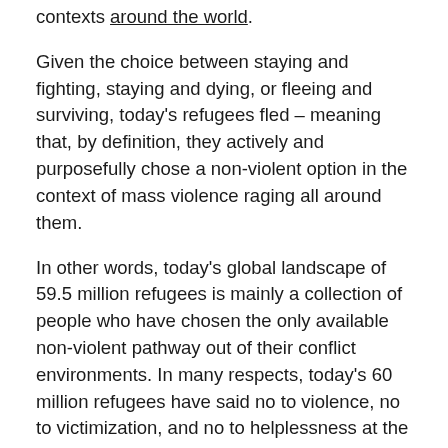contexts around the world.
Given the choice between staying and fighting, staying and dying, or fleeing and surviving, today's refugees fled – meaning that, by definition, they actively and purposefully chose a non-violent option in the context of mass violence raging all around them.
In other words, today's global landscape of 59.5 million refugees is mainly a collection of people who have chosen the only available non-violent pathway out of their conflict environments. In many respects, today's 60 million refugees have said no to violence, no to victimization, and no to helplessness at the same time. The decision to flee to strange and (often hostile) foreign lands as a refugee is not a light one. It involves taking significant risks, including the risk of death. For example, the UNHCR estimated that 3,735 refugees were dead or missing at sea while seeking refuge in Europe in 2015. Contrary to contemporary discourse, being a refugee ought